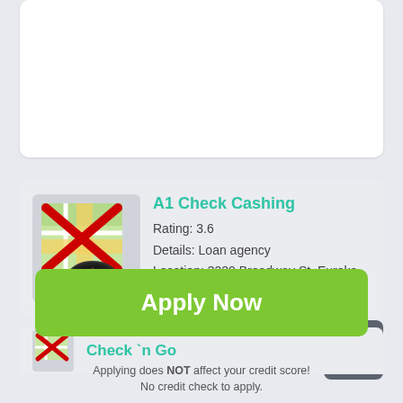[Figure (screenshot): Top white card placeholder area]
A1 Check Cashing
Rating: 3.6
Details: Loan agency
Location: 3220 Broadway St, Eureka, CA 95501, United States
Check `n Go
Apply Now
Applying does NOT affect your credit score!
No credit check to apply.